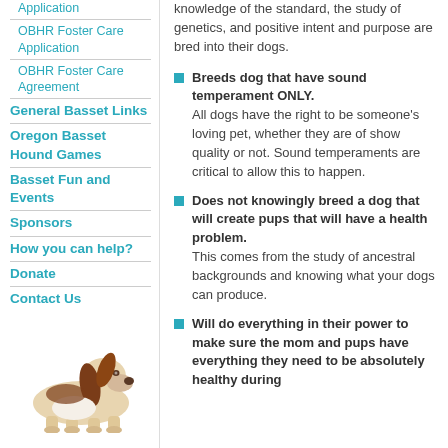Application
OBHR Foster Care Application
OBHR Foster Care Agreement
General Basset Links
Oregon Basset Hound Games
Basset Fun and Events
Sponsors
How you can help?
Donate
Contact Us
[Figure (photo): A Basset Hound dog lying down, brown and white coloring, with long floppy ears, looking upward.]
knowledge of the standard, the study of genetics, and positive intent and purpose are bred into their dogs.
Breeds dog that have sound temperament ONLY. All dogs have the right to be someone's loving pet, whether they are of show quality or not. Sound temperaments are critical to allow this to happen.
Does not knowingly breed a dog that will create pups that will have a health problem. This comes from the study of ancestral backgrounds and knowing what your dogs can produce.
Will do everything in their power to make sure the mom and pups have everything they need to be absolutely healthy during...